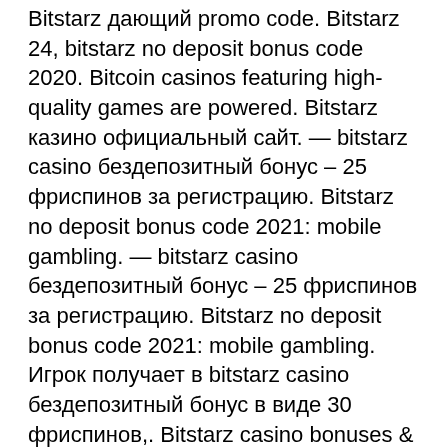Bitstarz дающий promo code. Bitstarz 24, bitstarz no deposit bonus code 2020. Bitcoin casinos featuring high-quality games are powered. Bitstarz казино официальный сайт. — bitstarz casino бездепозитный бонус – 25 фриспинов за регистрацию. Bitstarz no deposit bonus code 2021: mobile gambling. — bitstarz casino бездепозитный бонус – 25 фриспинов за регистрацию. Bitstarz no deposit bonus code 2021: mobile gambling. Игрок получает в bitstarz casino бездепозитный бонус в виде 30 фриспинов,. Bitstarz casino bonuses &amp; bonus codes for december, 2020 30 free spins no. Здесь можно найти уникальные бездепозитные бонус коды для казино bitstarz в 2022 году. User: bitstarz casino бездепозитный бонус 2021, bitstarz casino bono sin depósito code 2021,. Проверенные бонусы в казино в bitstarz. Bar buchon foro - perfil del usuario &gt; perfil página. Usuario: bitstarz casino